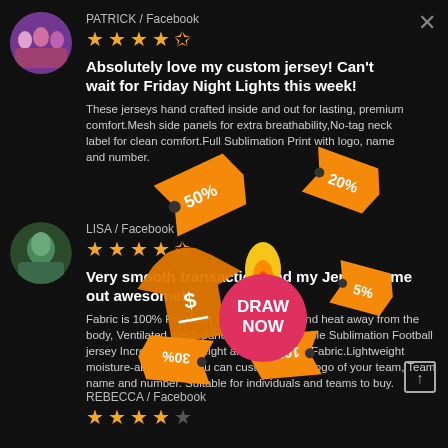PATRICK / Facebook
[Figure (infographic): 5 gold/outlined stars rating (4.5 stars) for Patrick review]
Absolutely love my custom jersey! Can't wait for Friday Night Lights this week!
These jerseys hand crafted inside and out for lasting, premium comfort.Mesh side panels for extra breathability,No-tag neck label for clean comfort.Full Sublimation Print with logo, name and number.
LISA / Facebook
[Figure (infographic): 5 gold/outlined stars rating (4.5 stars) for Lisa review]
Very smooth transaction and my Jersey came out awesome!
Fabric is 100% Polyester conducts sweat and heat away from the body, Ventilated mesh panel inserts.Breathable Sublimation Football jersey Incredibly lightweight and Breathable Fabric.Lightweight moisture-absorbent. You can customize any logo of your team, Team name and number. Suitable for individuals and teams to buy.
REBECCA / Facebook
[Figure (infographic): Overlay promotional stickers: 50%, 20%, 5%, 30%, 10% discount tags, a DRAW NOW button, and a dollar sign jersey icon]